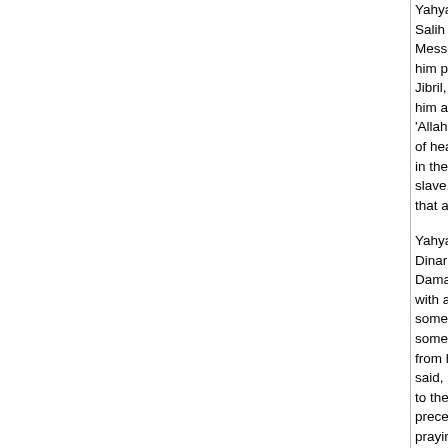Yahya related to me from Malik from Suhayl ibn Abi Salih from his father from Abu Hurayra that the Messenger of Allah, may Allah bless him and grant him peace, said, If Allah loves a slave, he says to Jibril, 'I love so-and-so, so love him,' so Jibril loves him and then calls out to the people of heaven, 'Allah loves so-and-so, so love him,' and the people of heaven love him, and then acceptance is placed in the Earth for him. When Allah is angry with a slave, Malik said, I consider that he says the like of that about His anger.
Yahya related to me from Malik from Abu Hazim ibn Dinar that Abu Idris al-Khawlani said, I entered the Damascus mosque and there was a young man with a beautiful mouth and white teeth sitting with some people. When they disagreed about something, they referred it to him and proceeded from his statement. I inquired about him, and it was said, 'This is Muadh ibn Jabal.' The next day I went to the noon-prayer, and I found that he had preceded me to the noon prayer and I found him praying.
Abu Idris continued, I waited for him until he had finished the prayer. Then I came to him from in front of him and greeted him and said, 'By Allah! I love you for Allah!' He said, 'By Allah?' I said, 'By Allah.' He said, 'By Allah?' I said, 'By Allah.' He said, 'By Allah?' I said, 'By Allah.'
He continued, He took me by the upper part of my cloak and pulled me to him and said, 'Rejoice! I...